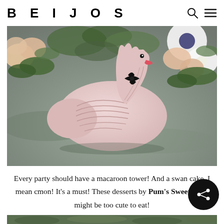BEIJOS
[Figure (photo): A pink ceramic swan figurine with a black ribbon bow, surrounded by white and peach floral arrangements on a grey surface.]
Every party should have a macaroon tower! And a swan cake. I mean cmon! It’s a must! These desserts by Pum’s Sweet’s just might be too cute to eat!
[Figure (photo): Bottom portion of a party table with greenery visible, partially cropped.]